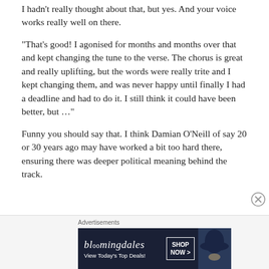I hadn't really thought about that, but yes. And your voice works really well on there.
“That’s good! I agonised for months and months over that and kept changing the tune to the verse. The chorus is great and really uplifting, but the words were really trite and I kept changing them, and was never happy until finally I had a deadline and had to do it. I still think it could have been better, but …”
Funny you should say that. I think Damian O’Neill of say 20 or 30 years ago may have worked a bit too hard there, ensuring there was deeper political meaning behind the track.
[Figure (other): Bloomingdales advertisement banner with text 'bloomingdales', 'View Today’s Top Deals!', 'SHOP NOW >' and an image of a woman in a hat]